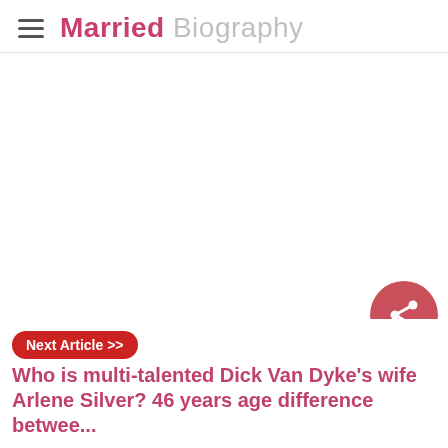Married Biography
[Figure (other): Large white/blank content area in the middle of the webpage]
Next Article >> Who is multi-talented Dick Van Dyke's wife Arlene Silver? 46 years age difference betwee...